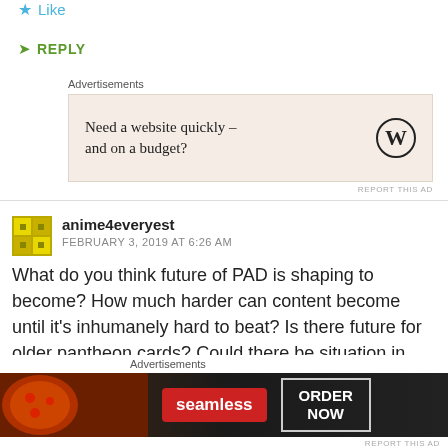Like
REPLY
Advertisements
[Figure (screenshot): WordPress advertisement: Need a website quickly – and on a budget? with WordPress logo]
REPORT THIS AD
anime4everyest
FEBRUARY 3, 2019 AT 6:26 AM
What do you think future of PAD is shaping to become? How much harder can content become until it's inhumanely hard to beat? Is there future for older pantheon cards? Could there be situation in which those cards become so outdated that they lose all worth just
Advertisements
[Figure (screenshot): Seamless food delivery advertisement: ORDER NOW]